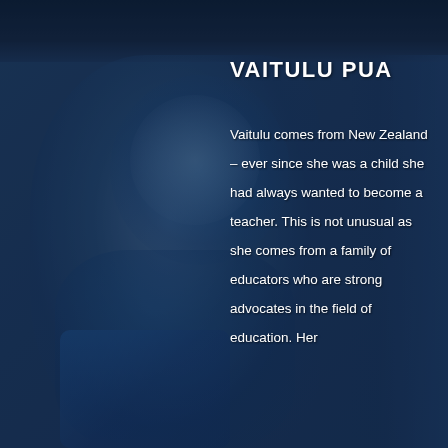[Figure (photo): A woman smiling, wearing sunglasses on her head and a patterned top, appears to be in a social/outdoor setting. The image has a dark blue overlay tint. There appear to be other people in the background.]
VAITULU PUA
Vaitulu comes from New Zealand – ever since she was a child she had always wanted to become a teacher. This is not unusual as she comes from a family of educators who are strong advocates in the field of education. Her